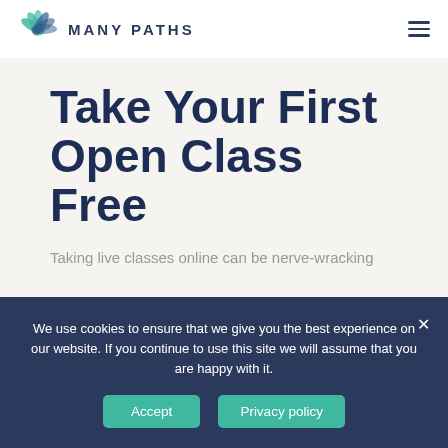[Figure (logo): Many Paths logo with teal/green leaf/bird icon and bold text 'MANY PATHS']
Take Your First Open Class Free
Taking live classes online can be nerve-wracking
We use cookies to ensure that we give you the best experience on our website. If you continue to use this site we will assume that you are happy with it.
Accept
Privacy policy